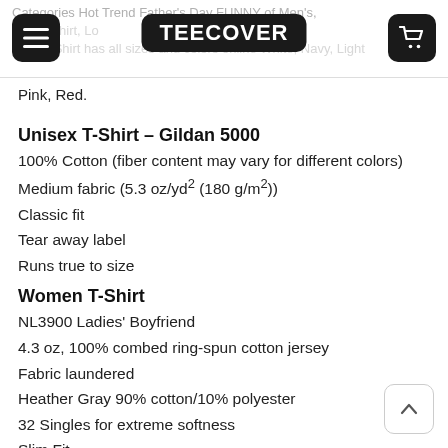Categories Hot Trend Father's Day FUNNY of Men's, Women's T-Shirt, Long Men's Sweatshirt and plus size. T-Shirt has all sizes and colors online White, Navy, Light Pink, Red.
Pink, Red.
Unisex T-Shirt – Gildan 5000
100% Cotton (fiber content may vary for different colors)
Medium fabric (5.3 oz/yd² (180 g/m²))
Classic fit
Tear away label
Runs true to size
Women T-Shirt
NL3900 Ladies' Boyfriend
4.3 oz, 100% combed ring-spun cotton jersey
Fabric laundered
Heather Gray 90% cotton/10% polyester
32 Singles for extreme softness
Slim Fit.